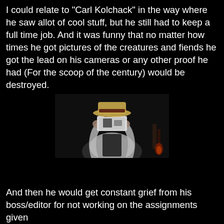I could relate to "Carl Kolchack" in the way where he saw allot of cool stuff, but he still had to keep a full time job. And it was funny that no matter how times he got pictures of the creatures and fiends he got the lead on his cameras or any other proof he had (For the scoop of the century) would be destroyed.
[Figure (photo): A dark, moody photograph of a person in a white shirt and vest wearing a straw hat with a dark band, holding a camera up to their face so the camera obscures their face. The background is very dark/black.]
And then he would get constant grief from his boss/editor for not working on the assignments given